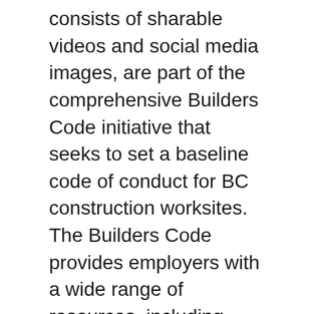consists of sharable videos and social media images, are part of the comprehensive Builders Code initiative that seeks to set a baseline code of conduct for BC construction worksites. The Builders Code provides employers with a wide range of resources, including downloadable policies and posters, online and onsite training for personnel, HR/dispute resolution advisors and more. Just as the #metoo and the Time's Up movements have spread exponentially to bring much needed attention to the harassment and discrimination of women in the workplace, it's hoped the #Don'tBeATool campaign can